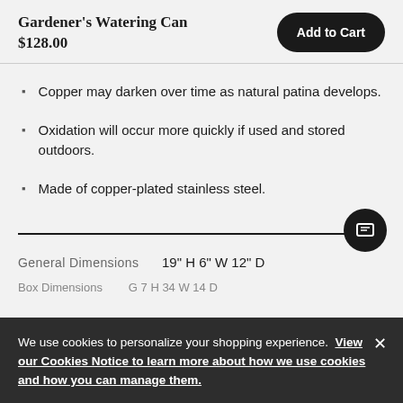Gardener's Watering Can
$128.00
Copper may darken over time as natural patina develops.
Oxidation will occur more quickly if used and stored outdoors.
Made of copper-plated stainless steel.
| General Dimensions | 19" H 6" W 12" D |
| --- | --- |